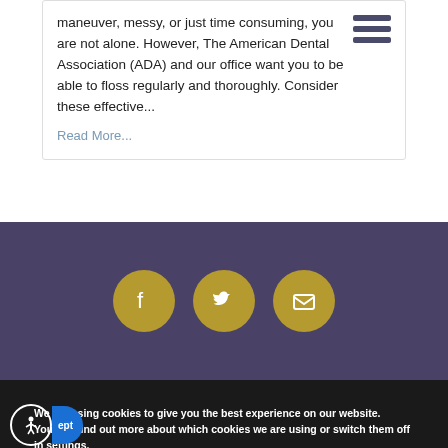maneuver, messy, or just time consuming, you are not alone. However, The American Dental Association (ADA) and our office want you to be able to floss regularly and thoroughly. Consider these effective...
Read More...
[Figure (infographic): Three social media icons (Facebook, Twitter, email/message) as gold circles on purple background]
We are using cookies to give you the best experience on our website.
You can find out more about which cookies we are using or switch them off in settings.